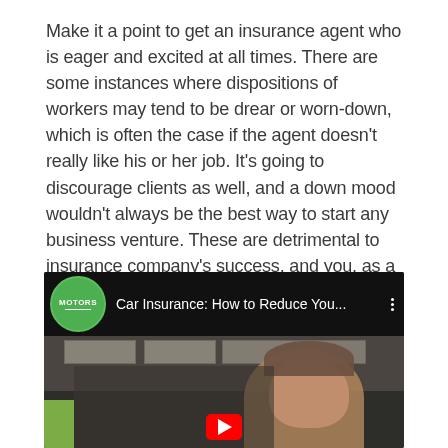Make it a point to get an insurance agent who is eager and excited at all times. There are some instances where dispositions of workers may tend to be drear or worn-down, which is often the case if the agent doesn't really like his or her job. It's going to discourage clients as well, and a down mood wouldn't always be the best way to start any business venture. These are detrimental to insurance company's success, and you, as a client could turn down requests if you wish.
[Figure (screenshot): YouTube video thumbnail showing a man in a room with a YouTube video title 'Car Insurance: How to Reduce You...' and a motors channel logo (green circle with white text 'MOTORS' and underline).]